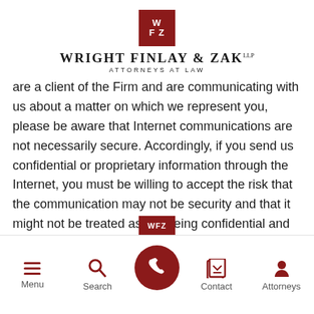[Figure (logo): Wright Finlay & Zak law firm logo: dark red square with W/F/Z lettering, firm name in serif capitals, subtitle ATTORNEYS AT LAW]
are a client of the Firm and are communicating with us about a matter on which we represent you, please be aware that Internet communications are not necessarily secure. Accordingly, if you send us confidential or proprietary information through the Internet, you must be willing to accept the risk that the communication may not be security and that it might not be treated as still being confidential and protected from disclosure.
[Figure (logo): Small partial WFZ logo at bottom center above navigation bar]
Menu  Search  [Call button]  Contact  Attorneys